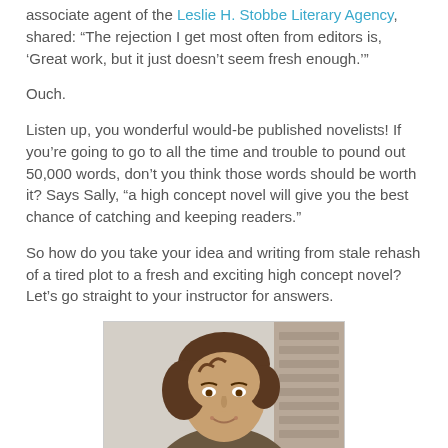associate agent of the Leslie H. Stobbe Literary Agency, shared: “The rejection I get most often from editors is, ‘Great work, but it just doesn’t seem fresh enough.’”
Ouch.
Listen up, you wonderful would-be published novelists! If you’re going to go to all the time and trouble to pound out 50,000 words, don’t you think those words should be worth it? Says Sally, “a high concept novel will give you the best chance of catching and keeping readers.”
So how do you take your idea and writing from stale rehash of a tired plot to a fresh and exciting high concept novel? Let’s go straight to your instructor for answers.
[Figure (photo): Portrait photo of a woman with curly brown hair, smiling, in front of a blurred background of bookshelves.]